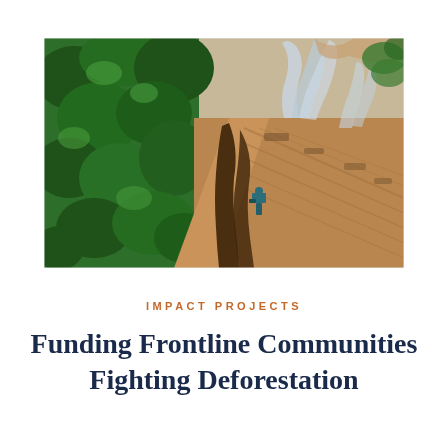[Figure (photo): Aerial drone photograph showing deforestation: lush green tropical forest on the left sharply contrasted with a cleared, barren brown earth plot on the right. A diagonal dirt road/boundary separates them. Smoke rises from burning vegetation along the cleared edge. A person or small machine is visible near the burning area.]
IMPACT PROJECTS
Funding Frontline Communities Fighting Deforestation